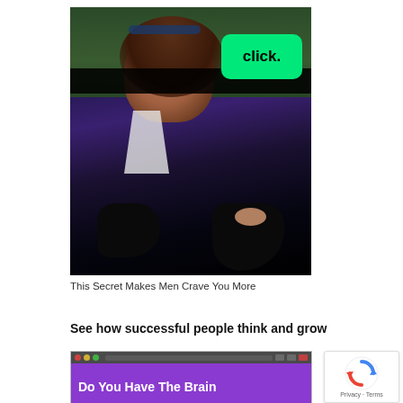[Figure (photo): Fashion advertisement photo of a woman wearing a dark purple/black cardigan with white collar, black leather gloves, seated outdoors. A green 'click.' button overlay appears in the upper right of the image.]
This Secret Makes Men Crave You More
See how successful people think and grow
[Figure (screenshot): Video thumbnail with purple background showing partial text 'Do You Have The Brain' in white bold text, with a browser window title bar above.]
[Figure (logo): reCAPTCHA badge with spinning arrows logo and 'Privacy · Terms' text below.]